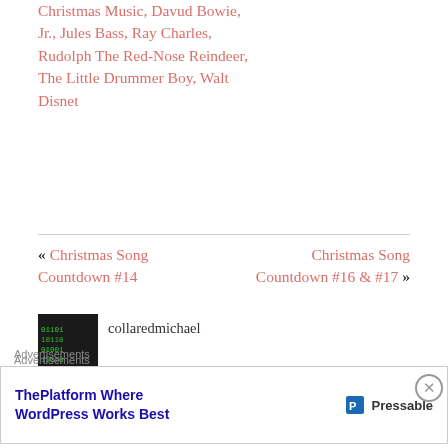Christmas Music, Davud Bowie, Jr., Jules Bass, Ray Charles, Rudolph The Red-Nose Reindeer, The Little Drummer Boy, Walt Disnet
« Christmas Song Countdown #14   Christmas Song Countdown #16 & #17 »
2 thoughts on “Christmas Song Countdown #15”
[Figure (photo): Avatar image of user collaredmichael — dark background with green text pattern]
collaredmichael
Advertisements
ThePlatform Where WordPress Works Best  Pressable